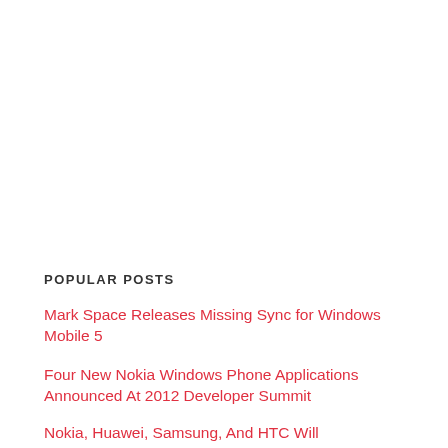POPULAR POSTS
Mark Space Releases Missing Sync for Windows Mobile 5
Four New Nokia Windows Phone Applications Announced At 2012 Developer Summit
Nokia, Huawei, Samsung, And HTC Will